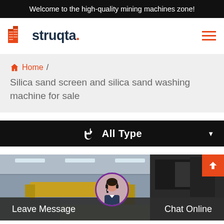Welcome to the high-quality mining machines zone!
[Figure (logo): Struqta company logo with orange building icon and dark text]
Home / Silica sand screen and silica sand washing machine for sale
All Type
[Figure (photo): Factory interior with industrial machinery, with Leave Message and Chat Online bar at bottom and a customer service representative avatar]